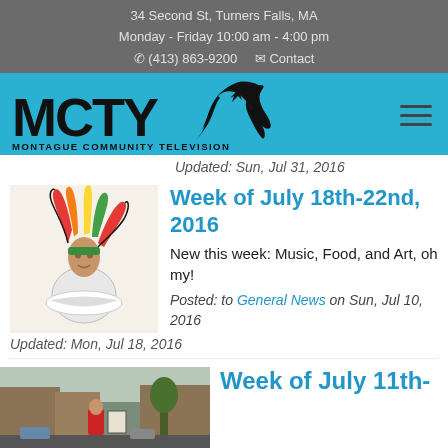34 Second St, Turners Falls, MA
Monday - Friday 10:00 am - 4:00 pm
☎ (413) 863-9200 ✉ Contact
[Figure (logo): MCTY - Montague Community Television logo with eagle, on blue navigation bar]
Updated: Sun, Jul 31, 2016
[Figure (illustration): Colorful illustration of a Native American dancer in traditional headdress]
Week of July 18th-22nd, 2016
New this week: Music, Food, and Art, oh my!
Posted: to General News on Sun, Jul 10, 2016
Updated: Mon, Jul 18, 2016
[Figure (photo): Street photo showing a person in a red jacket near a sign, with buildings and trees in the background]
Week of July 11th-